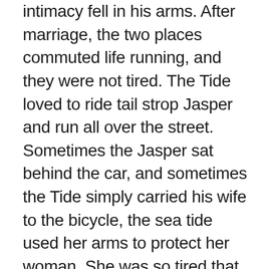intimacy fell in his arms. After marriage, the two places commuted life running, and they were not tired. The Tide loved to ride tail strop Jasper and run all over the street. Sometimes the Jasper sat behind the car, and sometimes the Tide simply carried his wife to the bicycle, the sea tide used her arms to protect her woman. She was so tired that she sweated and was very happy. Thirty years have passed in a flash. They do business and do business. The qin se has it. The clock and drum RITZ. The better the day goes, the better the son grows up and the parents always follow. The beautiful Jasper is no longer young, but she is more charming. Happiness is written on her face, sunshine is on her body, and poetry is engraved on her heart. Occasionally, Jasper and her former partners will